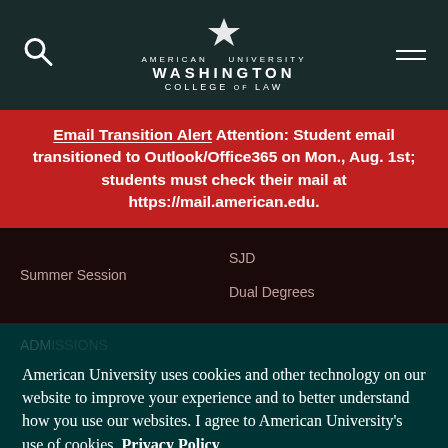American University Washington College of Law
Email Transition Alert Attention: Student email transitioned to Outlook/Office365 on Mon., Aug. 1st; students must check their mail at https://mail.american.edu.
Summer Session
SJD
Dual Degrees
American University uses cookies and other technology on our website to improve your experience and to better understand how you use our websites. I agree to American University's use of cookies. Privacy Policy
AGREE